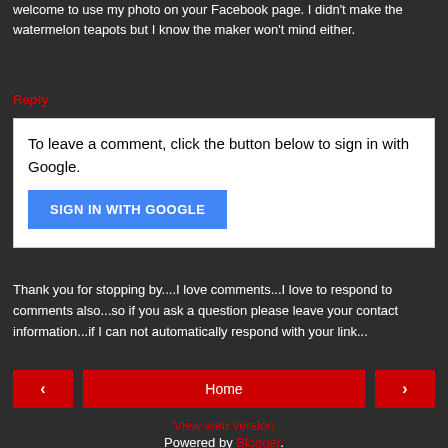welcome to use my photo on your Facebook page. I didn't make the watermelon teapots but I know the maker won't mind either.
Reply
To leave a comment, click the button below to sign in with Google.
SIGN IN WITH GOOGLE
Thank you for stopping by....I love comments...I love to respond to comments also...so if you ask a question please leave your contact information...if I can not automatically respond with your link...
< Home > View web version Powered by Blogger.